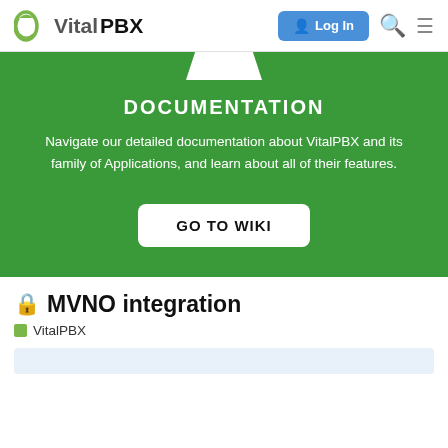VitalPBX — Log In
[Figure (screenshot): VitalPBX documentation hero banner with green background showing DOCUMENTATION heading, description text, and GO TO WIKI button]
🔒 MVNO integration
VitalPBX